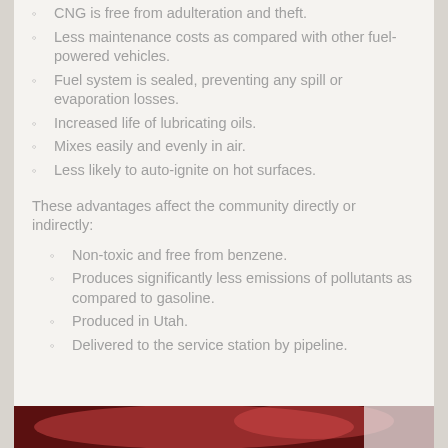CNG is free from adulteration and theft.
Less maintenance costs as compared with other fuel-powered vehicles.
Fuel system is sealed, preventing any spill or evaporation losses.
Increased life of lubricating oils.
Mixes easily and evenly in air.
Less likely to auto-ignite on hot surfaces.
These advantages affect the community directly or indirectly:
Non-toxic and free from benzene.
Produces significantly less emissions of pollutants as compared to gasoline.
Produced in Utah.
Delivered to the service station by pipeline.
[Figure (photo): Partial view of a red vehicle or machinery, cropped at bottom of page.]